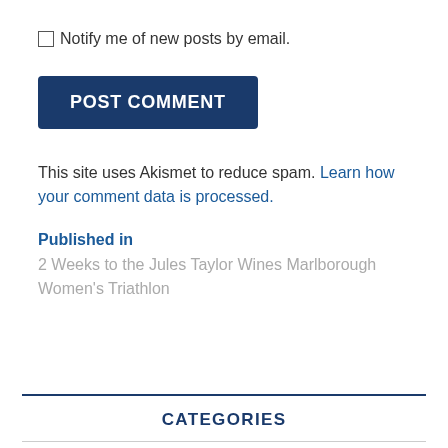Notify me of new posts by email.
POST COMMENT
This site uses Akismet to reduce spam. Learn how your comment data is processed.
Published in
2 Weeks to the Jules Taylor Wines Marlborough Women's Triathlon
CATEGORIES